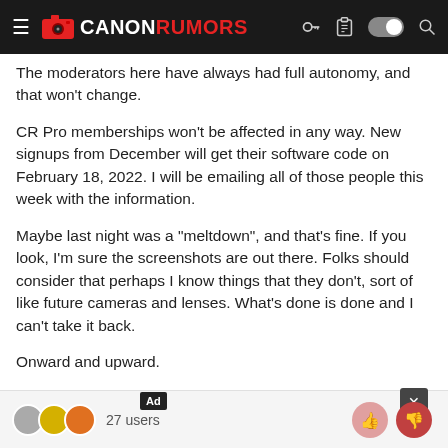[Figure (screenshot): Canon Rumors website navigation bar with hamburger menu, Canon Rumors logo (white CANON, red RUMORS), and right-side icons including key, clipboard, toggle switch, and search]
The moderators here have always had full autonomy, and that won't change.
CR Pro memberships won't be affected in any way. New signups from December will get their software code on February 18, 2022. I will be emailing all of those people this week with the information.
Maybe last night was a "meltdown", and that's fine. If you look, I'm sure the screenshots are out there. Folks should consider that perhaps I know things that they don't, sort of like future cameras and lenses. What's done is done and I can't take it back.
Onward and upward.
Thanks.
Craig